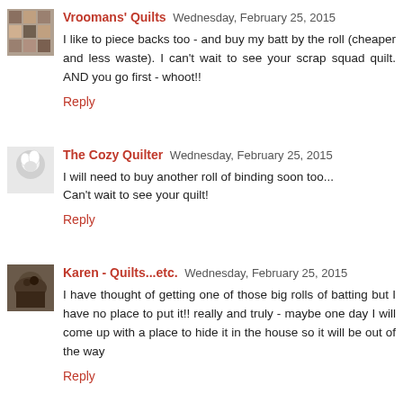Vroomans' Quilts Wednesday, February 25, 2015
I like to piece backs too - and buy my batt by the roll (cheaper and less waste). I can't wait to see your scrap squad quilt. AND you go first - whoot!!
Reply
The Cozy Quilter Wednesday, February 25, 2015
I will need to buy another roll of binding soon too...
Can't wait to see your quilt!
Reply
Karen - Quilts...etc. Wednesday, February 25, 2015
I have thought of getting one of those big rolls of batting but I have no place to put it!! really and truly - maybe one day I will come up with a place to hide it in the house so it will be out of the way
Reply